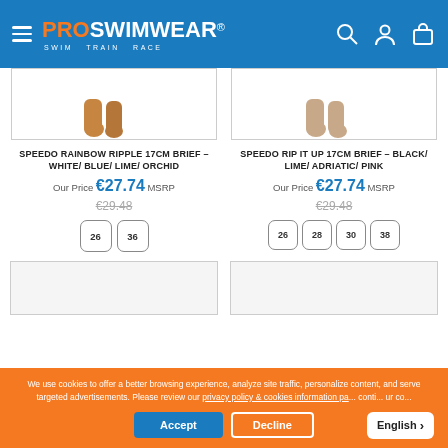[Figure (screenshot): ProSwimwear website header with logo, hamburger menu, and icons]
[Figure (photo): Speedo Rainbow Ripple 17cm Brief product image showing swimmer legs]
SPEEDO RAINBOW RIPPLE 17CM BRIEF – WHITE/ BLUE/ LIME/ ORCHID
Our Price €27.74 MSRP
€29.48
Size options: 26, 36
[Figure (photo): Speedo Rip It Up 17cm Brief product image showing swimmer legs]
SPEEDO RIP IT UP 17CM BRIEF – BLACK/ LIME/ ADRIATIC/ PINK
Our Price €27.74 MSRP
€29.48
Size options: 26, 28, 30, 38
We use cookies to offer a better browsing experience, analyze site traffic, personalize content, and serve targeted advertisements. Please review our privacy policy & cookies information pa... conti... ur co...
Accept
Decline
English >